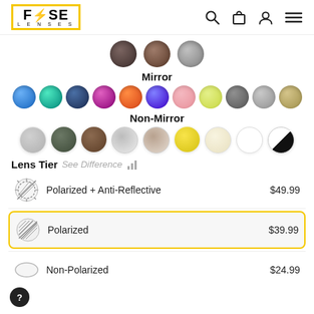[Figure (screenshot): Fuse Lenses navigation bar with logo, search, bag, user, and menu icons]
[Figure (infographic): Three color swatches in dark tones (dark grey-brown, medium brown, light grey) above the Mirror label]
Mirror
[Figure (infographic): Mirror lens color swatches: blue, teal/green, dark navy, pink-magenta, orange, purple, light pink, yellow-green, grey, light grey, tan/gold]
Non-Mirror
[Figure (infographic): Non-mirror lens color swatches: light grey, olive/dark green, brown, grey gradient, taupe/brown gradient, yellow, cream/ivory, white, black-white split]
Lens Tier  See Difference
Polarized + Anti-Reflective  $49.99
Polarized  $39.99
Non-Polarized  $24.99